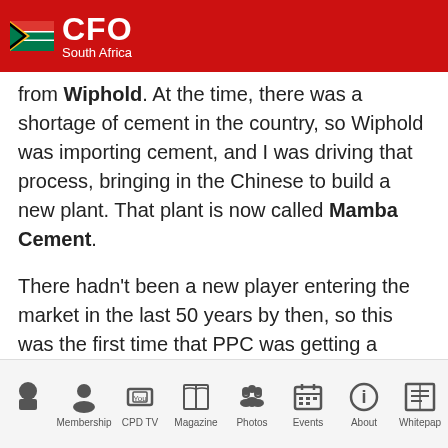CFO South Africa
from Wiphold. At the time, there was a shortage of cement in the country, so Wiphold was importing cement, and I was driving that process, bringing in the Chinese to build a new plant. That plant is now called Mamba Cement.
There hadn't been a new player entering the market in the last 50 years by then, so this was the first time that PPC was getting a competitor. And this competitor was becoming a disruptor. There was also the issue of transformation, and PPC's board
Home  Membership  CPD TV  Magazine  Photos  Events  About  Whitepap